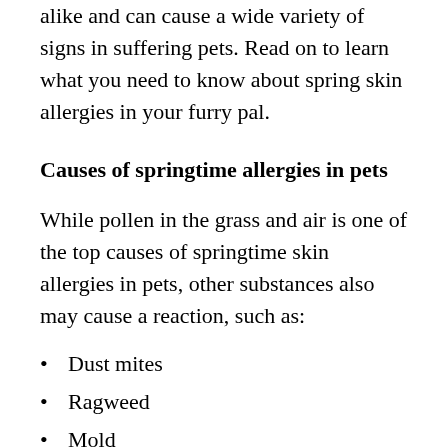alike and can cause a wide variety of signs in suffering pets. Read on to learn what you need to know about spring skin allergies in your furry pal.
Causes of springtime allergies in pets
While pollen in the grass and air is one of the top causes of springtime skin allergies in pets, other substances also may cause a reaction, such as:
Dust mites
Ragweed
Mold